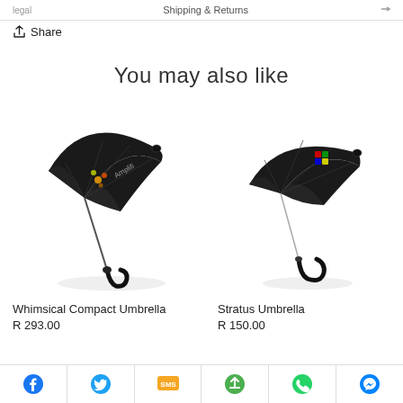Shipping & Returns
Share
You may also like
[Figure (photo): Black Whimsical Compact Umbrella shown open from above with Amplifi branding logo, presented on white background]
Whimsical Compact Umbrella
R 293.00
[Figure (photo): Black Stratus Umbrella with curved handle and colorful logo print, shown on white background]
Stratus Umbrella
R 150.00
Social share icons: Facebook, Twitter, SMS, Share, WhatsApp, Messenger